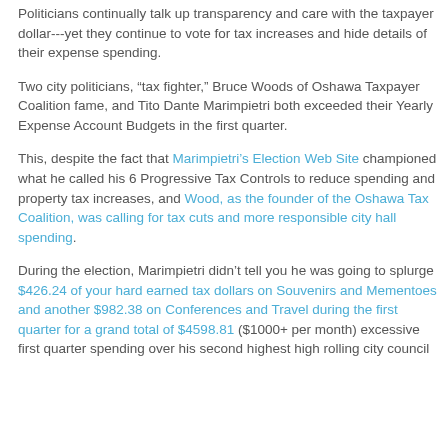Politicians continually talk up transparency and care with the taxpayer dollar---yet they continue to vote for tax increases and hide details of their expense spending.
Two city politicians, "tax fighter," Bruce Woods of Oshawa Taxpayer Coalition fame, and Tito Dante Marimpietri both exceeded their Yearly Expense Account Budgets in the first quarter.
This, despite the fact that Marimpietri's Election Web Site championed what he called his 6 Progressive Tax Controls to reduce spending and property tax increases, and Wood, as the founder of the Oshawa Tax Coalition, was calling for tax cuts and more responsible city hall spending.
During the election, Marimpietri didn't tell you he was going to splurge $426.24 of your hard earned tax dollars on Souvenirs and Mementoes and another $982.38 on Conferences and Travel during the first quarter for a grand total of $4598.81 ($1000+ per month) excessive first quarter spending over his second highest high rolling city council